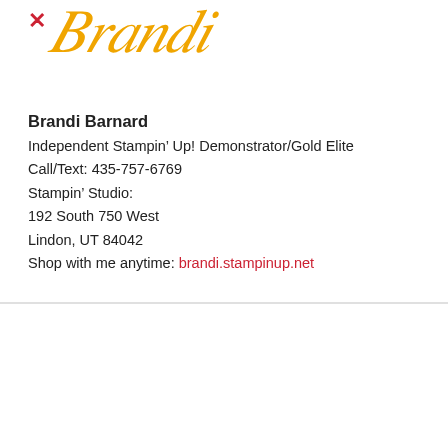[Figure (logo): Brandi script logo in gold/yellow cursive with a red X mark to the left]
Brandi Barnard
Independent Stampin’ Up! Demonstrator/Gold Elite
Call/Text: 435-757-6769
Stampin’ Studio:
192 South 750 West
Lindon, UT 84042
Shop with me anytime: brandi.stampinup.net
LAST CHANCE PRODUCT SALE: TO A WILD
by brandi barnard
[Figure (photo): Partial preview of a colorful gradient image at bottom of page, orange to pink]